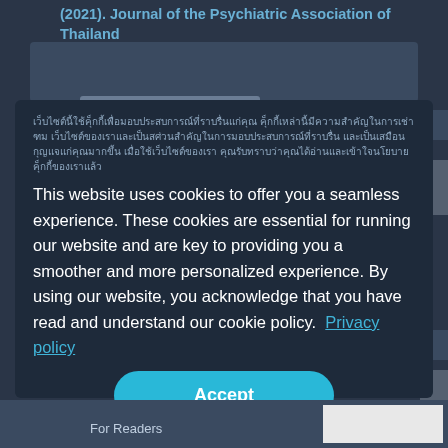(2021). Journal of the Psychiatric Association of Thailand
[Thai text - cookie policy notice in Thai language]
This website uses cookies to offer you a seamless experience. These cookies are essential for running our website and are key to providing you a smoother and more personalized experience. By using our website, you acknowledge that you have read and understand our cookie policy.  Privacy policy
Accept
For Readers